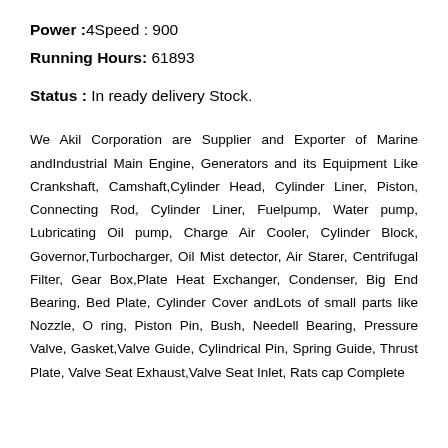Power :4Speed : 900
Running Hours: 61893
Status : In ready delivery Stock.
We Akil Corporation are Supplier and Exporter of Marine andIndustrial Main Engine, Generators and its Equipment Like Crankshaft, Camshaft,Cylinder Head, Cylinder Liner, Piston, Connecting Rod, Cylinder Liner, Fuelpump, Water pump, Lubricating Oil pump, Charge Air Cooler, Cylinder Block, Governor,Turbocharger, Oil Mist detector, Air Starer, Centrifugal Filter, Gear Box,Plate Heat Exchanger, Condenser, Big End Bearing, Bed Plate, Cylinder Cover andLots of small parts like Nozzle, O ring, Piston Pin, Bush, Needell Bearing, Pressure Valve, Gasket,Valve Guide, Cylindrical Pin, Spring Guide, Thrust Plate, Valve Seat Exhaust,Valve Seat Inlet, Rats cap Complete